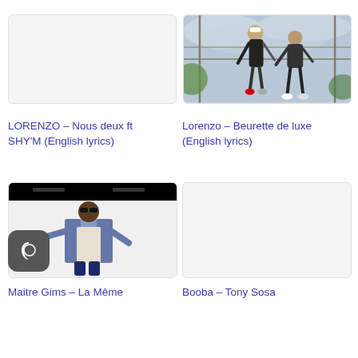[Figure (photo): Blank white/light gray thumbnail placeholder for LORENZO song]
[Figure (photo): Photo of two men sitting on metal structure outdoors, one wearing white cap and tracksuit, cloudy sky background — Lorenzo Beurette de luxe thumbnail]
LORENZO – Nous deux ft SHY'M (English lyrics)
Lorenzo – Beurette de luxe (English lyrics)
[Figure (photo): Photo of Maitre Gims pointing, wearing sunglasses and denim jacket, black top strip — Maitre Gims La Même thumbnail]
[Figure (photo): Blank white/light gray thumbnail placeholder for Booba Tony Sosa]
Maitre Gims – La Même
Booba – Tony Sosa